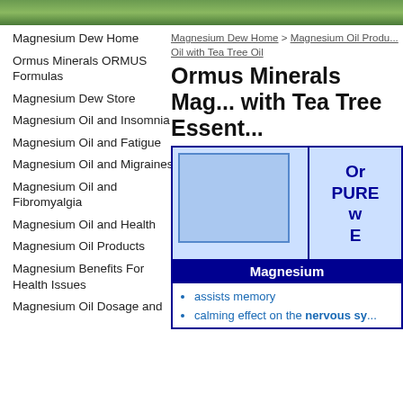[Figure (photo): Green nature/herb banner image at top of page]
Magnesium Dew Home
Ormus Minerals ORMUS Formulas
Magnesium Dew Store
Magnesium Oil and Insomnia
Magnesium Oil and Fatigue
Magnesium Oil and Migraines
Magnesium Oil and Fibromyalgia
Magnesium Oil and Health
Magnesium Oil Products
Magnesium Benefits For Health Issues
Magnesium Oil Dosage and
Magnesium Dew Home > Magnesium Oil Products > Magnesium Oil with Tea Tree Oil
Ormus Minerals Magnesium Oil with Tea Tree Essential Oil
[Figure (photo): Product image of Ormus Minerals Pure Magnesium Oil with Tea Tree Essential Oil]
Magnesium
assists memory
calming effect on the nervous system